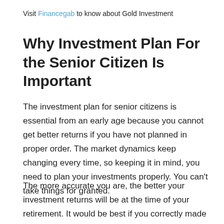Visit Financegab to know about Gold Investment
Why Investment Plan For the Senior Citizen Is Important
The investment plan for senior citizens is essential from an early age because you cannot get better returns if you have not planned in proper order. The market dynamics keep changing every time, so keeping it in mind, you need to plan your investments properly. You can't take things for granted.
The more accurate you are, the better your investment returns will be at the time of your retirement. It would be best if you correctly made your calculations. The more accurate your retirement investment plan the better your